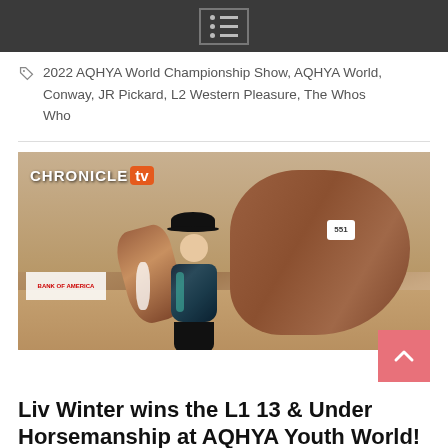Menu
2022 AQHYA World Championship Show, AQHYA World, Conway, JR Pickard, L2 Western Pleasure, The Whos Who
[Figure (photo): A young rider in western show attire (black and teal sequined jacket, black cowboy hat) standing next to a chestnut horse with a decorative saddle numbered 551, inside an equestrian arena. Chronicle TV logo visible in top left corner. Bank of America banner visible in background.]
Liv Winter wins the L1 13 & Under Horsemanship at AQHYA Youth World!